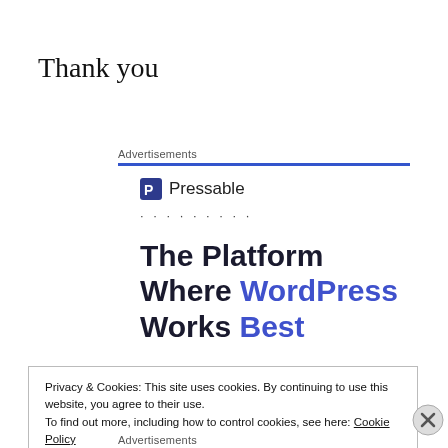Thank you
Advertisements
[Figure (logo): Pressable logo with square P icon and text 'Pressable']
The Platform Where WordPress Works Best
Privacy & Cookies: This site uses cookies. By continuing to use this website, you agree to their use. To find out more, including how to control cookies, see here: Cookie Policy
Close and accept
Advertisements